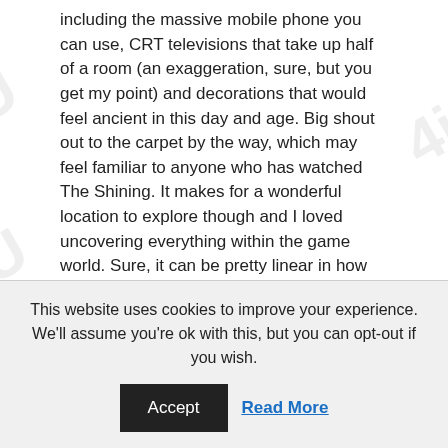including the massive mobile phone you can use, CRT televisions that take up half of a room (an exaggeration, sure, but you get my point) and decorations that would feel ancient in this day and age. Big shout out to the carpet by the way, which may feel familiar to anyone who has watched The Shining. It makes for a wonderful location to explore though and I loved uncovering everything within the game world. Sure, it can be pretty linear in how you approach exploration and not every room of the hotel can be explored, but it never stops being an intriguing location to discover more of.
One thing I have to give The Suicide of Rachel Foster extra praise for is its sound design, which is absolutely on point throughout. Not
This website uses cookies to improve your experience. We'll assume you're ok with this, but you can opt-out if you wish.